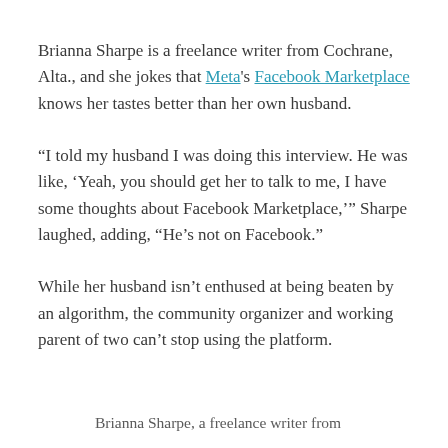Brianna Sharpe is a freelance writer from Cochrane, Alta., and she jokes that Meta's Facebook Marketplace knows her tastes better than her own husband.
“I told my husband I was doing this interview. He was like, ‘Yeah, you should get her to talk to me, I have some thoughts about Facebook Marketplace,’” Sharpe laughed, adding, “He’s not on Facebook.”
While her husband isn’t enthused at being beaten by an algorithm, the community organizer and working parent of two can’t stop using the platform.
Brianna Sharpe, a freelance writer from